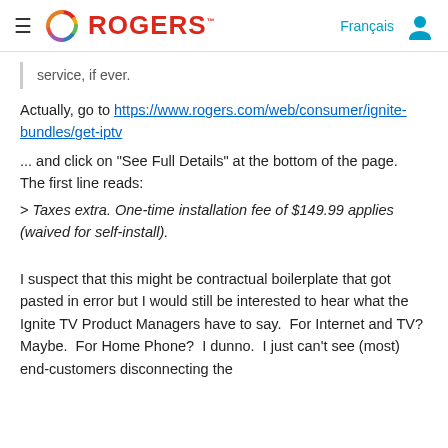ROGERS
service, if ever.
Actually, go to https://www.rogers.com/web/consumer/ignite-bundles/get-iptv
... and click on "See Full Details" at the bottom of the page.  The first line reads:
> Taxes extra. One-time installation fee of $149.99 applies (waived for self-install).
I suspect that this might be contractual boilerplate that got pasted in error but I would still be interested to hear what the Ignite TV Product Managers have to say.  For Internet and TV?  Maybe.  For Home Phone?  I dunno.  I just can't see (most) end-customers disconnecting the